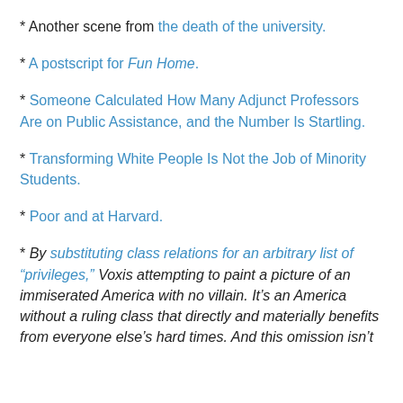* Another scene from the death of the university.
* A postscript for Fun Home.
* Someone Calculated How Many Adjunct Professors Are on Public Assistance, and the Number Is Startling.
* Transforming White People Is Not the Job of Minority Students.
* Poor and at Harvard.
* By substituting class relations for an arbitrary list of “privileges,” Voxis attempting to paint a picture of an immiserated America with no villain. It’s an America without a ruling class that directly and materially benefits from everyone else’s hard times. And this omission isn’t